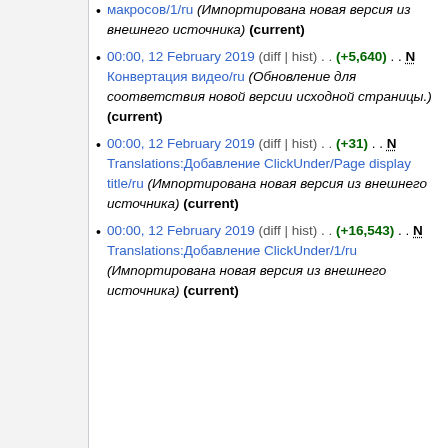макросов/1/ru (Импортирована новая версия из внешнего источника) (current)
00:00, 12 February 2019 (diff | hist) . . (+5,640) . . N Конвертация видео/ru (Обновление для соответствия новой версии исходной страницы.) (current)
00:00, 12 February 2019 (diff | hist) . . (+31) . . N Translations:Добавление ClickUnder/Page display title/ru (Импортирована новая версия из внешнего источника) (current)
00:00, 12 February 2019 (diff | hist) . . (+16,543) . . N Translations:Добавление ClickUnder/1/ru (Импортирована новая версия из внешнего источника) (current)